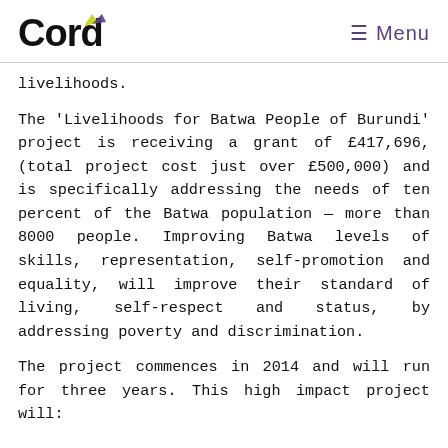Cord  ≡ Menu
livelihoods.
The 'Livelihoods for Batwa People of Burundi' project is receiving a grant of £417,696, (total project cost just over £500,000) and is specifically addressing the needs of ten percent of the Batwa population — more than 8000 people. Improving Batwa levels of skills, representation, self-promotion and equality, will improve their standard of living, self-respect and status, by addressing poverty and discrimination.
The project commences in 2014 and will run for three years. This high impact project will: